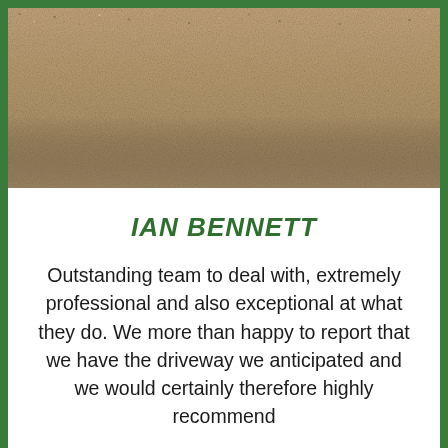[Figure (photo): Close-up photograph of a beige/tan gravel or resin-bound driveway surface with a grainy texture]
IAN BENNETT
Outstanding team to deal with, extremely professional and also exceptional at what they do. We more than happy to report that we have the driveway we anticipated and we would certainly therefore highly recommend